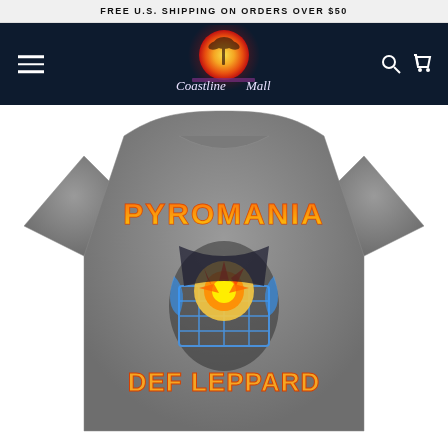FREE U.S. SHIPPING ON ORDERS OVER $50
[Figure (logo): Coastline Mall logo with sunset and palm tree on dark navy background navigation header]
[Figure (photo): Gray Def Leppard Pyromania band t-shirt with flame lettering and album artwork graphic]